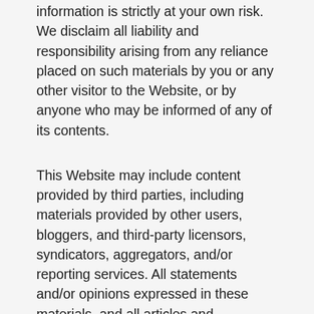information is strictly at your own risk. We disclaim all liability and responsibility arising from any reliance placed on such materials by you or any other visitor to the Website, or by anyone who may be informed of any of its contents.
This Website may include content provided by third parties, including materials provided by other users, bloggers, and third-party licensors, syndicators, aggregators, and/or reporting services. All statements and/or opinions expressed in these materials, and all articles and responses to questions and other content, other than the content provided by the Company, are solely the opinions and the responsibility of the person or entity providing those materials. These